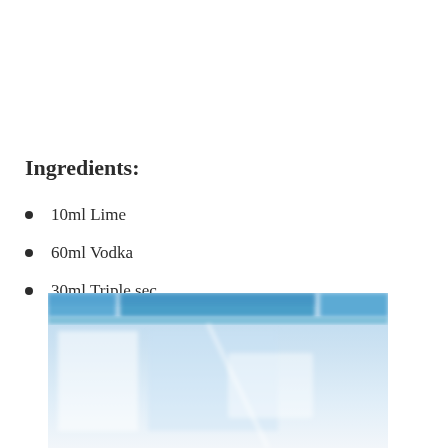Ingredients:
10ml Lime
60ml Vodka
30ml Triple sec
[Figure (photo): Blurry blue-tinted photo of what appears to be documents or papers on a desk, with blue header bars at the top]